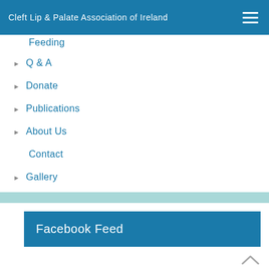Cleft Lip & Palate Association of Ireland
Feeding
Q & A
Donate
Publications
About Us
Contact
Gallery
Facebook Feed